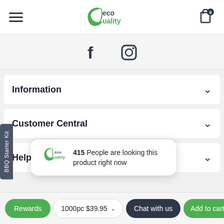[Figure (logo): EcoQuality logo with green leaf and text]
[Figure (illustration): Facebook and Instagram social media icons]
Information
Customer Central
Help
415 People are looking this product right now
BBQ Starter Kit
1000pc $39.95
Rewards
Chat with us
Add to cart